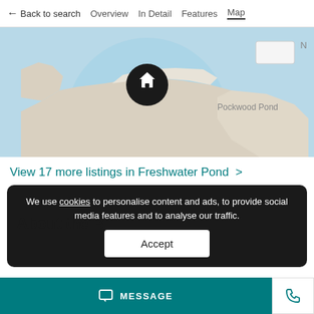← Back to search   Overview   In Detail   Features   Map
[Figure (map): A map showing a coastal area with land (beige/white) and water (light blue). A black circular pin with a white house icon is placed at the center. The label 'Pockwood Pond' appears to the right. A semi-transparent light blue circle indicates proximity radius.]
View 17 more listings in Freshwater Pond >
We use cookies to personalise content and ads, to provide social media features and to analyse our traffic.
Accept
About the B
MESSAGE  [phone icon]